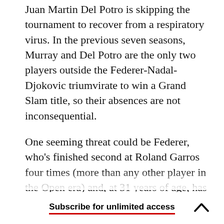Juan Martin Del Potro is skipping the tournament to recover from a respiratory virus. In the previous seven seasons, Murray and Del Potro are the only two players outside the Federer-Nadal-Djokovic triumvirate to win a Grand Slam title, so their absences are not inconsequential.
One seeming threat could be Federer, who's finished second at Roland Garros four times (more than any other player in the Open era) and, at 31 years of age, has become the benevolent senior citizen of the Big Four. But Nadal has always held the upper hand in their long-running rivalry, and
Subscribe for unlimited access